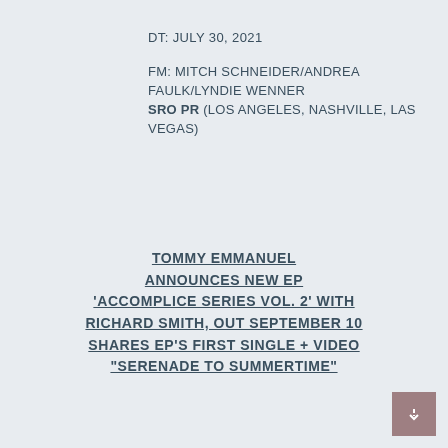DT: JULY 30, 2021
FM: MITCH SCHNEIDER/ANDREA FAULK/LYNDIE WENNER SRO PR (LOS ANGELES, NASHVILLE, LAS VEGAS)
TOMMY EMMANUEL ANNOUNCES NEW EP 'ACCOMPLICE SERIES VOL. 2' WITH RICHARD SMITH, OUT SEPTEMBER 10 SHARES EP'S FIRST SINGLE + VIDEO "SERENADE TO SUMMERTIME"